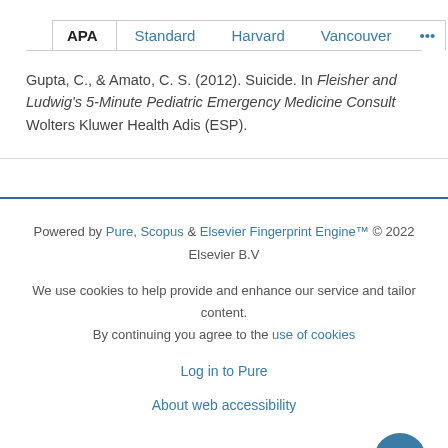APA  Standard  Harvard  Vancouver  ...
Gupta, C., & Amato, C. S. (2012). Suicide. In Fleisher and Ludwig's 5-Minute Pediatric Emergency Medicine Consult Wolters Kluwer Health Adis (ESP).
Powered by Pure, Scopus & Elsevier Fingerprint Engine™ © 2022 Elsevier B.V

We use cookies to help provide and enhance our service and tailor content. By continuing you agree to the use of cookies

Log in to Pure

About web accessibility